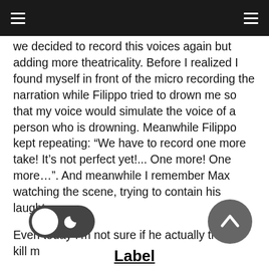we decided to record this voices again but adding more theatricality. Before I realized I found myself in front of the micro recording the narration while Filippo tried to drown me so that my voice would simulate the voice of a person who is drowning. Meanwhile Filippo kept repeating: “We have to record one more take! It’s not perfect yet!... One more! One more...”. And meanwhile I remember Max watching the scene, trying to contain his laughter.

Even today I’m not sure if he actually tried to kill m
Label